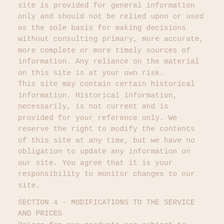site is provided for general information only and should not be relied upon or used as the sole basis for making decisions without consulting primary, more accurate, more complete or more timely sources of information. Any reliance on the material on this site is at your own risk.
This site may contain certain historical information. Historical information, necessarily, is not current and is provided for your reference only. We reserve the right to modify the contents of this site at any time, but we have no obligation to update any information on our site. You agree that it is your responsibility to monitor changes to our site.
SECTION 4 - MODIFICATIONS TO THE SERVICE AND PRICES
Prices for our products are subject to change without notice. We reserve the right at any time to modify or discontinue the Service (or any part or content thereof) without notice at any time.